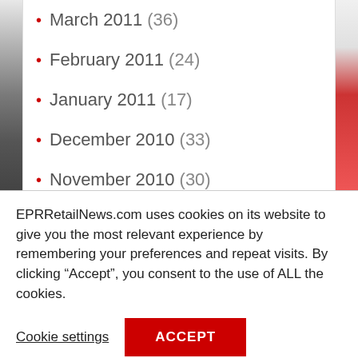March 2011 (36)
February 2011 (24)
January 2011 (17)
December 2010 (33)
November 2010 (30)
October 2010 (31)
September 2010 (41)
EPRRetailNews.com uses cookies on its website to give you the most relevant experience by remembering your preferences and repeat visits. By clicking “Accept”, you consent to the use of ALL the cookies.
Cookie settings  ACCEPT